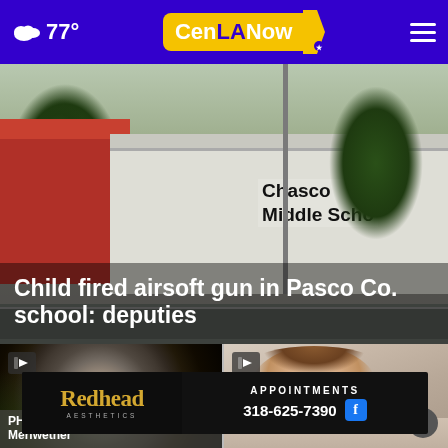77° CenLANow [navigation menu]
[Figure (photo): Exterior photo of Chasco Middle School building with red and white facade, trees, and parking lot visible]
Child fired airsoft gun in Pasco Co. school: deputies
[Figure (photo): Close-up abstract circular spiral pattern, likely a drainage or pipe]
PH... Meriwether
[Figure (photo): Portrait of a young man with brown hair, appears to be a sports or news photo]
[Figure (advertisement): Redhead Aesthetics ad: APPOINTMENTS 318-625-7390 with Facebook icon]